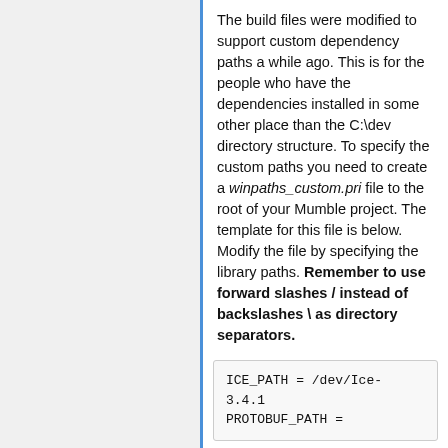The build files were modified to support custom dependency paths a while ago. This is for the people who have the dependencies installed in some other place than the C:\dev directory structure. To specify the custom paths you need to create a winpaths_custom.pri file to the root of your Mumble project. The template for this file is below. Modify the file by specifying the library paths. Remember to use forward slashes / instead of backslashes \ as directory separators.
ICE_PATH = /dev/Ice-3.4.1
PROTOBUF_PATH =